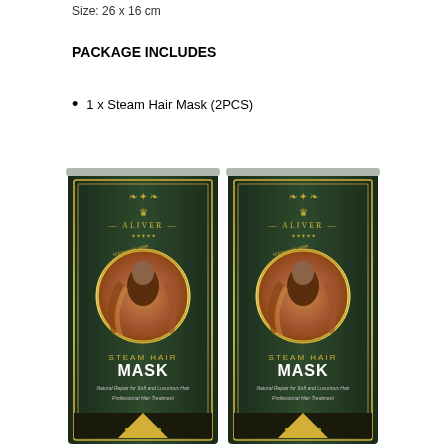Size: 26 x 16 cm
PACKAGE INCLUDES
1 x Steam Hair Mask (2PCS)
[Figure (photo): Two Aliver Steam Hair Mask product packages side by side. Each is a dark green/black foil pouch with gold decorative borders and the ALIVER brand name. Features a circular image of a woman with flowing auburn hair. Text reads STEAM HAIR MASK - Natural Repair for Soft and Luxurious Hair, Professional Hair Treatment, 5X REPAIR.]